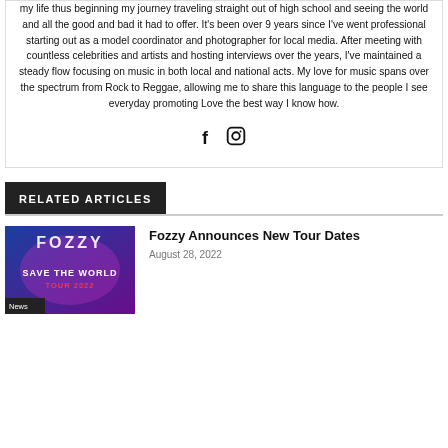my life thus beginning my journey traveling straight out of high school and seeing the world and all the good and bad it had to offer. It's been over 9 years since I've went professional starting out as a model coordinator and photographer for local media. After meeting with countless celebrities and artists and hosting interviews over the years, I've maintained a steady flow focusing on music in both local and national acts. My love for music spans over the spectrum from Rock to Reggae, allowing me to share this language to the people I see everyday promoting Love the best way I know how.
[Figure (other): Social media icons: Facebook (f) and Instagram (camera) icons]
RELATED ARTICLES
[Figure (photo): Fozzy band promotional image with text 'SAVE THE WORLD TOUR 2022' and News label at bottom left]
Fozzy Announces New Tour Dates
August 28, 2022